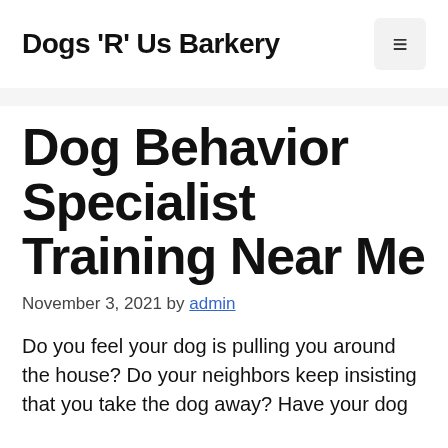Dogs 'R' Us Barkery
Dog Behavior Specialist Training Near Me
November 3, 2021 by admin
Do you feel your dog is pulling you around the house? Do your neighbors keep insisting that you take the dog away? Have your dog